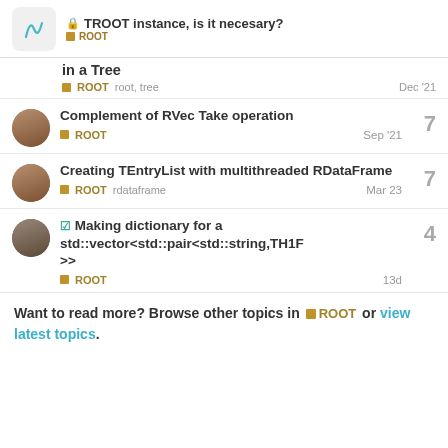🔒 TROOT instance, is it necesary? ROOT
in a Tree — ROOT  root, tree — Dec '21
Complement of RVec Take operation — ROOT — Sep '21 — replies: 7
Creating TEntryList with multithreaded RDataFrame — ROOT  rdataframe — Mar 23 — replies: 7
✓ Making dictionary for a std::vector<std::pair<std::string,TH1F>> — ROOT — 13d — replies: 4
Want to read more? Browse other topics in ROOT or view latest topics.